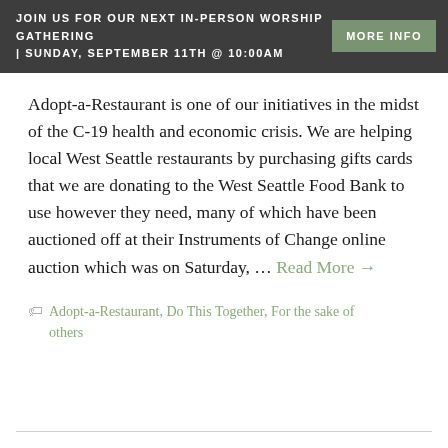JOIN US FOR OUR NEXT IN-PERSON WORSHIP GATHERING | SUNDAY, SEPTEMBER 11TH @ 10:00AM
Adopt-a-Restaurant is one of our initiatives in the midst of the C-19 health and economic crisis. We are helping local West Seattle restaurants by purchasing gifts cards that we are donating to the West Seattle Food Bank to use however they need, many of which have been auctioned off at their Instruments of Change online auction which was on Saturday, … Read More →
Adopt-a-Restaurant, Do This Together, For the sake of others